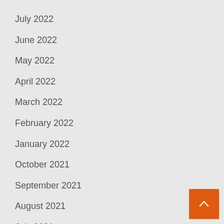July 2022
June 2022
May 2022
April 2022
March 2022
February 2022
January 2022
October 2021
September 2021
August 2021
July 2021
May 2021